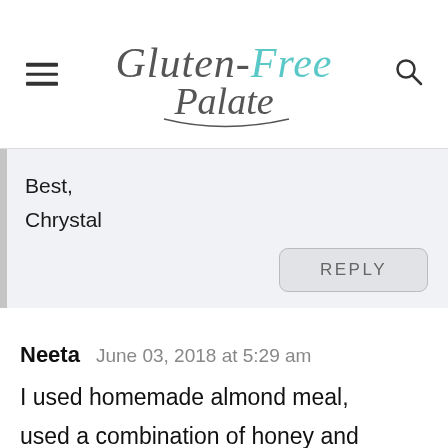Gluten-Free Palate
Best,
Chrystal
REPLY
Neeta   June 03, 2018 at 5:29 am
I used homemade almond meal, used a combination of honey and maple syrup baked in a brownie pan. These were